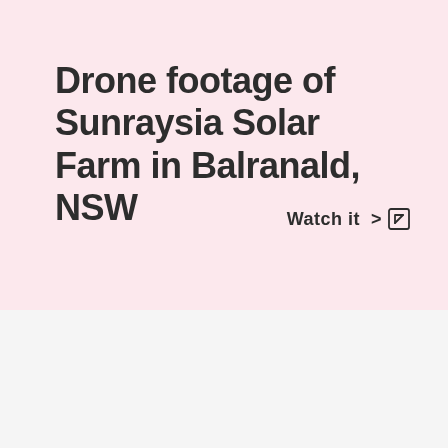Drone footage of Sunraysia Solar Farm in Balranald, NSW
Watch it >